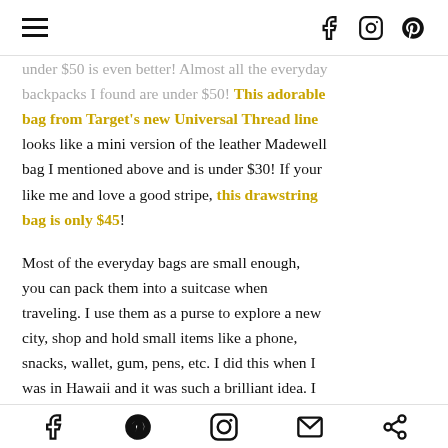Navigation header with hamburger menu and social icons (Facebook, Instagram, Pinterest)
under $50 is even better! Almost all the everyday backpacks I found are under $50! This adorable bag from Target's new Universal Thread line looks like a mini version of the leather Madewell bag I mentioned above and is under $30! If your like me and love a good stripe, this drawstring bag is only $45!
Most of the everyday bags are small enough, you can pack them into a suitcase when traveling. I use them as a purse to explore a new city, shop and hold small items like a phone, snacks, wallet, gum, pens, etc. I did this when I was in Hawaii and it was such a brilliant idea. I loaded my travel bag full and then carried a lighter and smaller bag with me around the
Social share bar: Facebook, Pinterest, Instagram, Email, Share